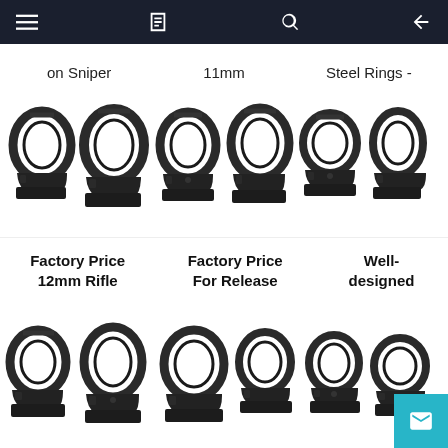on Sniper | 11mm | Steel Rings -
[Figure (photo): Six black rifle scope mounting rings arranged in a row, showing various sizes and angles]
Factory Price 12mm Rifle | Factory Price For Release | Well-designed
[Figure (photo): Six black rifle scope mounting rings in a second row, smaller and arranged in various angles]